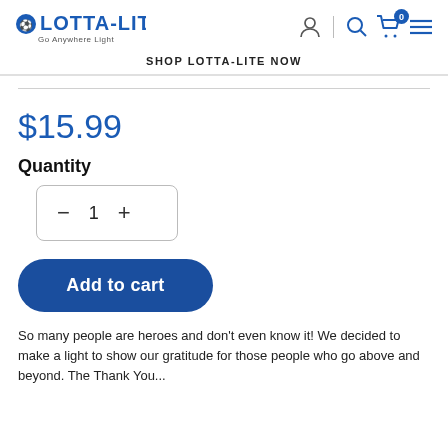LOTTA-LITE Go Anywhere Light — SHOP LOTTA-LITE NOW
$15.99
Quantity
− 1 +
Add to cart
So many people are heroes and don't even know it! We decided to make a light to show our gratitude for those people who go above and beyond. The Thank You...